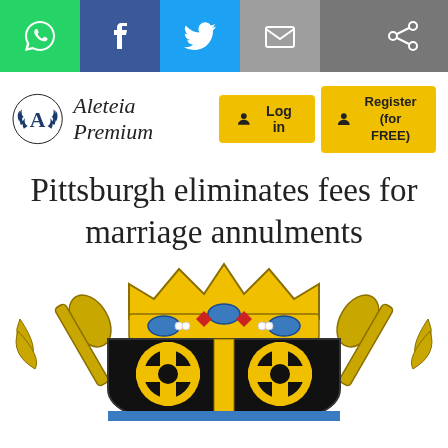[Figure (screenshot): Social media share bar with WhatsApp, Facebook, Twitter, Email, and generic share icons]
Aleteia Premium
Pittsburgh eliminates fees for marriage annulments
[Figure (illustration): Coat of arms / heraldic crest of the Diocese of Pittsburgh: black shield with two gold cross-pattee symbols on black field, topped by a golden crown with blue and red gemstones, flanked by gold crossed croziers]